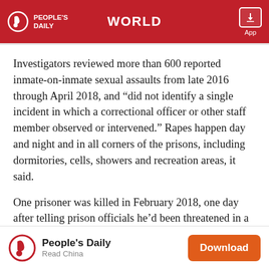PEOPLE'S DAILY | WORLD | App
Investigators reviewed more than 600 reported inmate-on-inmate sexual assaults from late 2016 through April 2018, and “did not identify a single incident in which a correctional officer or other staff member observed or intervened.” Rapes happen day and night and in all corners of the prisons, including dormitories, cells, showers and recreation areas, it said.
One prisoner was killed in February 2018, one day after telling prison officials he’d been threatened in a dispute over a cellphone. In another prison that month, an inmate who’d been repeatedly disciplined for knife possession fatally stabbed another prisoner in a knife fight.
People's Daily | Read China | Download